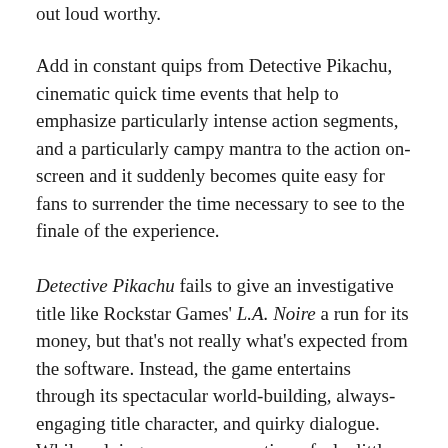out loud worthy.
Add in constant quips from Detective Pikachu, cinematic quick time events that help to emphasize particularly intense action segments, and a particularly campy mantra to the action on-screen and it suddenly becomes quite easy for fans to surrender the time necessary to see to the finale of the experience.
Detective Pikachu fails to give an investigative title like Rockstar Games' L.A. Noire a run for its money, but that's not really what's expected from the software. Instead, the game entertains through its spectacular world-building, always-engaging title character, and quirky dialogue. While solving cases can sometimes feel a little tedious as users compile evidence in a similar manner, there's little preventing this from being one of the more memorable and worthwhile Pokemon spin-offs ever made.